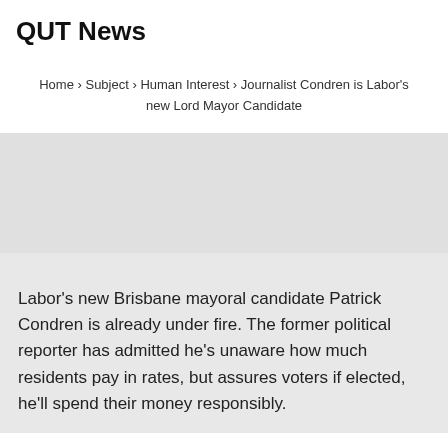QUT News
Home › Subject › Human Interest › Journalist Condren is Labor's new Lord Mayor Candidate
Labor's new Brisbane mayoral candidate Patrick Condren is already under fire. The former political reporter has admitted he's unaware how much residents pay in rates, but assures voters if elected, he'll spend their money responsibly.